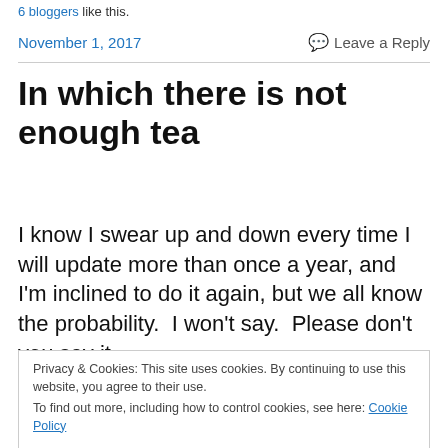6 bloggers like this.
November 1, 2017
Leave a Reply
In which there is not enough tea
I know I swear up and down every time I will update more than once a year, and I'm inclined to do it again, but we all know the probability.  I won't say.  Please don't you say it,
Privacy & Cookies: This site uses cookies. By continuing to use this website, you agree to their use.
To find out more, including how to control cookies, see here: Cookie Policy
Close and accept
to open your mouth to let anything in or out.  I once again